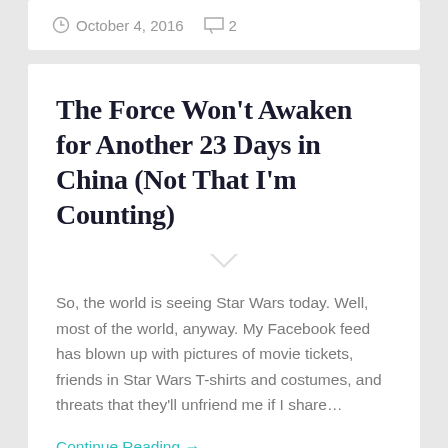October 4, 2016  2
The Force Won't Awaken for Another 23 Days in China (Not That I'm Counting)
So, the world is seeing Star Wars today. Well, most of the world, anyway. My Facebook feed has blown up with pictures of movie tickets, friends in Star Wars T-shirts and costumes, and threats that they'll unfriend me if I share…
Continue Reading →